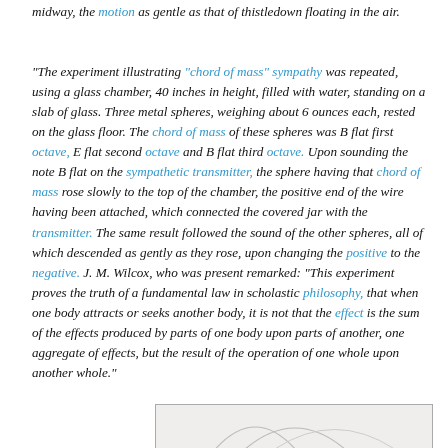midway, the motion as gentle as that of thistledown floating in the air.
"The experiment illustrating "chord of mass" sympathy was repeated, using a glass chamber, 40 inches in height, filled with water, standing on a slab of glass. Three metal spheres, weighing about 6 ounces each, rested on the glass floor. The chord of mass of these spheres was B flat first octave, E flat second octave and B flat third octave. Upon sounding the note B flat on the sympathetic transmitter, the sphere having that chord of mass rose slowly to the top of the chamber, the positive end of the wire having been attached, which connected the covered jar with the transmitter. The same result followed the sound of the other spheres, all of which descended as gently as they rose, upon changing the positive to the negative. J. M. Wilcox, who was present remarked: "This experiment proves the truth of a fundamental law in scholastic philosophy, that when one body attracts or seeks another body, it is not that the effect is the sum of the effects produced by parts of one body upon parts of another, one aggregate of effects, but the result of the operation of one whole upon another whole."
[Figure (illustration): Partial view of an illustration or diagram, showing curved lines on a light background, framed with a border.]